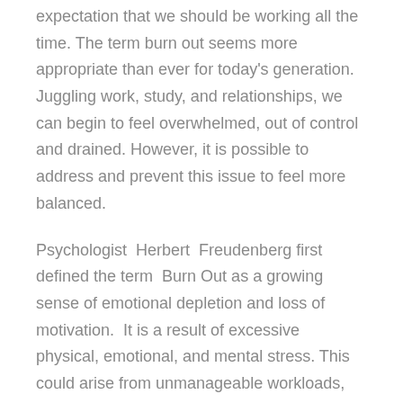expectation that we should be working all the time. The term burn out seems more appropriate than ever for today's generation. Juggling work, study, and relationships, we can begin to feel overwhelmed, out of control and drained. However, it is possible to address and prevent this issue to feel more balanced.
Psychologist Herbert Freudenberg first defined the term Burn Out as a growing sense of emotional depletion and loss of motivation. It is a result of excessive physical, emotional, and mental stress. This could arise from unmanageable workloads, saying yes to too many commitments or having an unhealthy work-life balance. Feeling overwhelmed, emotionally...